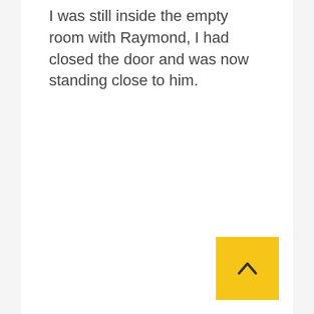I was still inside the empty room with Raymond, I had closed the door and was now standing close to him.
[Figure (other): Yellow square button with an upward-pointing chevron arrow icon (scroll-to-top button)]